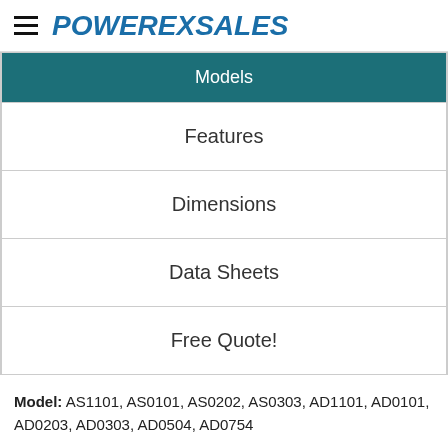POWEREXSALES
| Models |
| --- |
| Features |
| Dimensions |
| Data Sheets |
| Free Quote! |
Model: AS1101, AS0101, AS0202, AS0303, AD1101, AD0101, AD0203, AD0303, AD0504, AD0754
*Scroll to the right on mobile to see entire chart
Add to